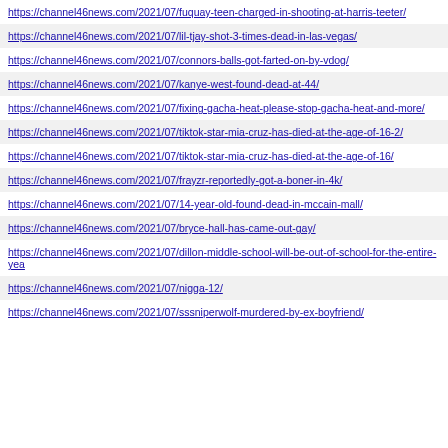https://channel46news.com/2021/07/fuquay-teen-charged-in-shooting-at-harris-teeter/
https://channel46news.com/2021/07/lil-tjay-shot-3-times-dead-in-las-vegas/
https://channel46news.com/2021/07/connors-balls-got-farted-on-by-vdog/
https://channel46news.com/2021/07/kanye-west-found-dead-at-44/
https://channel46news.com/2021/07/fixing-gacha-heat-please-stop-gacha-heat-and-more/
https://channel46news.com/2021/07/tiktok-star-mia-cruz-has-died-at-the-age-of-16-2/
https://channel46news.com/2021/07/tiktok-star-mia-cruz-has-died-at-the-age-of-16/
https://channel46news.com/2021/07/frayzr-reportedly-got-a-boner-in-4k/
https://channel46news.com/2021/07/14-year-old-found-dead-in-mccain-mall/
https://channel46news.com/2021/07/bryce-hall-has-came-out-gay/
https://channel46news.com/2021/07/dillon-middle-school-will-be-out-of-school-for-the-entire-yea
https://channel46news.com/2021/07/nigga-12/
https://channel46news.com/2021/07/sssniperwolf-murdered-by-ex-boyfriend/